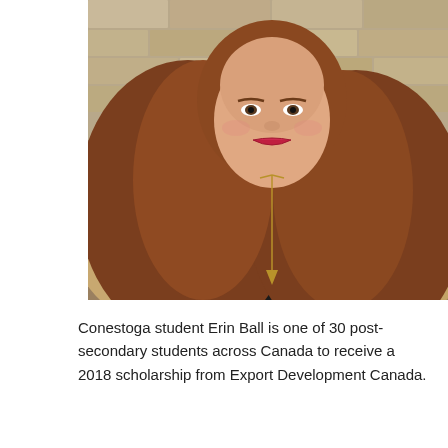[Figure (photo): Portrait photo of Conestoga student Erin Ball, a young woman with long wavy auburn/red hair, wearing a black top and a long gold chain necklace, smiling, with a stone wall background.]
Conestoga student Erin Ball is one of 30 post-secondary students across Canada to receive a 2018 scholarship from Export Development Canada.